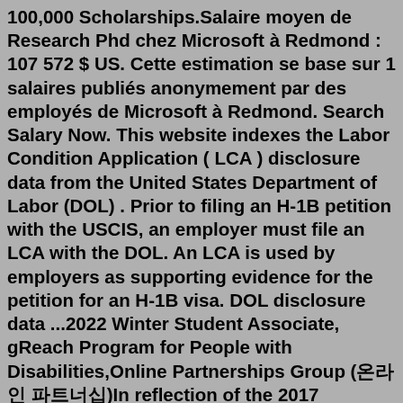100,000 Scholarships.Salaire moyen de Research Phd chez Microsoft à Redmond : 107 572 $ US. Cette estimation se base sur 1 salaires publiés anonymement par des employés de Microsoft à Redmond. Search Salary Now. This website indexes the Labor Condition Application ( LCA ) disclosure data from the United States Department of Labor (DOL) . Prior to filing an H-1B petition with the USCIS, an employer must file an LCA with the DOL. An LCA is used by employers as supporting evidence for the petition for an H-1B visa. DOL disclosure data ...2022 Winter Student Associate, gReach Program for People with Disabilities,Online Partnerships Group (온라인 파트너십)In reflection of the 2017 recruiting season, Glassdoor took some time to analyze its anonymized salary data, producing a report of the highest-paying internships for 2017.After Masters's in Fashion Designing the candidates can further pursue a PhD in fashion or textile, but as designers, it calls for skill and creativity as well. Other careers in t Jul 18, 2022 · Microsoft Internship 2022 | Data Science Intern...